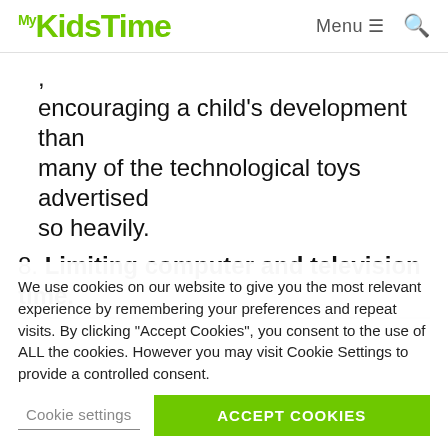MyKidsTime  Menu  🔍
encouraging a child's development than many of the technological toys advertised so heavily.
8. Limiting computer and television time.
We use cookies on our website to give you the most relevant experience by remembering your preferences and repeat visits. By clicking "Accept Cookies", you consent to the use of ALL the cookies. However you may visit Cookie Settings to provide a controlled consent.
Cookie settings   ACCEPT COOKIES
9. Noticing when he or she learns a new skill like...